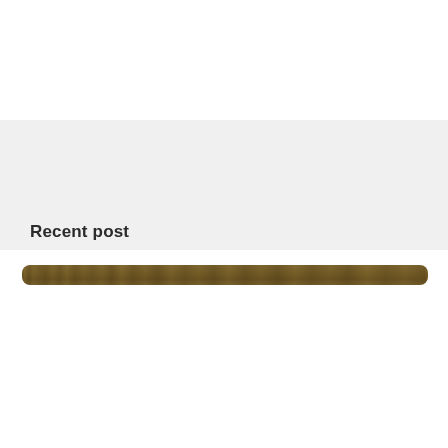[Figure (other): Light gray banner/header area spanning the upper portion of the page]
Recent post
[Figure (other): Horizontal wood-grain textured bar with rounded ends, brownish-tan color, spanning most of the page width]